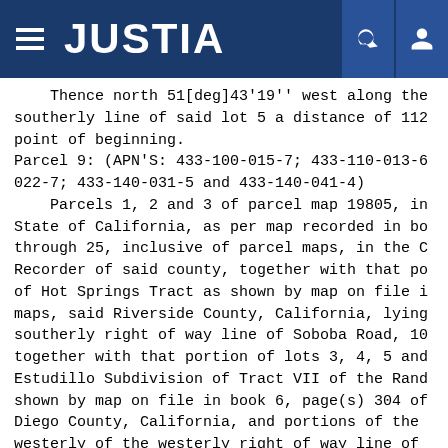JUSTIA
Thence north 51[deg]43'19'' west along the southerly line of said lot 5 a distance of 112 point of beginning.
Parcel 9: (APN'S: 433-100-015-7; 433-110-013-6 022-7; 433-140-031-5 and 433-140-041-4)
   Parcels 1, 2 and 3 of parcel map 19805, in State of California, as per map recorded in bo through 25, inclusive of parcel maps, in the C Recorder of said county, together with that po of Hot Springs Tract as shown by map on file i maps, said Riverside County, California, lying southerly right of way line of Soboba Road, 10 together with that portion of lots 3, 4, 5 and Estudillo Subdivision of Tract VII of the Rand shown by map on file in book 6, page(s) 304 of Diego County, California, and portions of the westerly of the westerly right of way line of